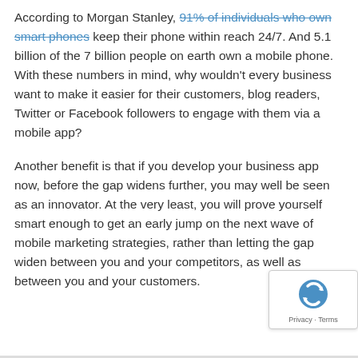According to Morgan Stanley, 91% of individuals who own smart phones keep their phone within reach 24/7. And 5.1 billion of the 7 billion people on earth own a mobile phone. With these numbers in mind, why wouldn't every business want to make it easier for their customers, blog readers, Twitter or Facebook followers to engage with them via a mobile app?
Another benefit is that if you develop your business app now, before the gap widens further, you may well be seen as an innovator. At the very least, you will prove yourself smart enough to get an early jump on the next wave of mobile marketing strategies, rather than letting the gap widen between you and your competitors, as well as between you and your customers.
[Figure (logo): Google reCAPTCHA badge with spinning arrows logo and 'Privacy · Terms' text]